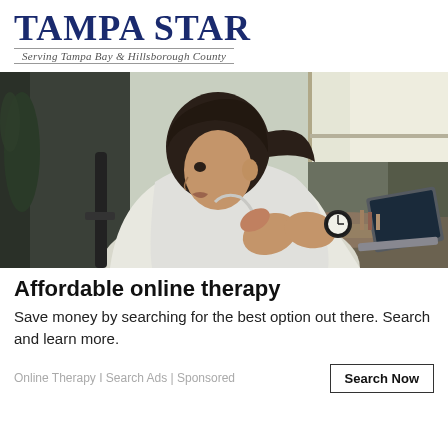TAMPA STAR
Serving Tampa Bay & Hillsborough County
[Figure (photo): A woman in a white shirt sitting and gesturing with her hands, viewed from the side, with a laptop and alarm clock on a table beside her near a bright window.]
Affordable online therapy
Save money by searching for the best option out there. Search and learn more.
Online Therapy I Search Ads | Sponsored